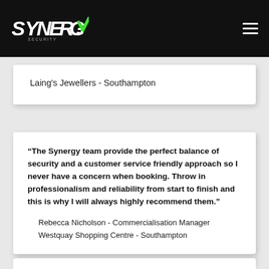Synergy Security
Laing's Jewellers - Southampton
“The Synergy team provide the perfect balance of security and a customer service friendly approach so I never have a concern when booking. Throw in professionalism and reliability from start to finish and this is why I will always highly recommend them.”
Rebecca Nicholson - Commercialisation Manager
Westquay Shopping Centre - Southampton